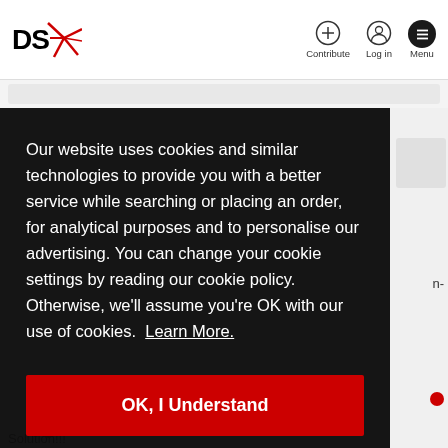DS* — Contribute, Log in, Menu
Our website uses cookies and similar technologies to provide you with a better service while searching or placing an order, for analytical purposes and to personalise our advertising. You can change your cookie settings by reading our cookie policy. Otherwise, we'll assume you're OK with our use of cookies. Learn More.
OK, I Understand